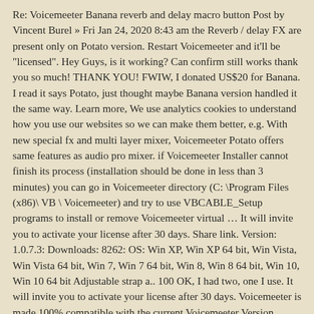Re: Voicemeeter Banana reverb and delay macro button Post by Vincent Burel » Fri Jan 24, 2020 8:43 am the Reverb / delay FX are present only on Potato version. Restart Voicemeeter and it'll be "licensed". Hey Guys, is it working? Can confirm still works thank you so much! THANK YOU! FWIW, I donated US$20 for Banana. I read it says Potato, just thought maybe Banana version handled it the same way. Learn more, We use analytics cookies to understand how you use our websites so we can make them better, e.g. With new special fx and multi layer mixer, Voicemeeter Potato offers same features as audio pro mixer. if Voicemeeter Installer cannot finish its process (installation should be done in less than 3 minutes) you can go in Voicemeeter directory (C: \Program Files (x86)\ VB \ Voicemeeter) and try to use VBCABLE_Setup programs to install or remove Voicemeeter virtual … It will invite you to activate your license after 30 days. Share link. Version: 1.0.7.3: Downloads: 8262: OS: Win XP, Win XP 64 bit, Win Vista, Win Vista 64 bit, Win 7, Win 7 64 bit, Win 8, Win 8 64 bit, Win 10, Win 10 64 bit Adjustable strap a.. 100 OK, I had two, one I use. It will invite you to activate your license after 30 days. Voicemeeter is made 100% compatible with the current Voicemeeter Version, while using an old version or different version of the DLL could not work or produce trouble. For months? Voicemeeter Potato 2.0.5.0 Crack is the recommended plug-in for